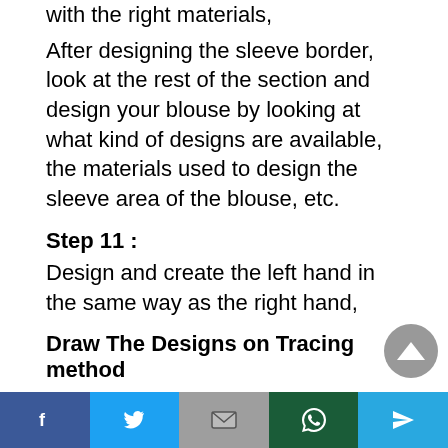with the right materials,
After designing the sleeve border, look at the rest of the section and design your blouse by looking at what kind of designs are available, the materials used to design the sleeve area of the blouse, etc.
Step 11 :
Design and create the left hand in the same way as the right hand,
Draw The Designs on Tracing method
If you have an already drawn picture or a copied picture, you can use it to draw designs on the blouse in a traceable manner, which requires
Facebook  Twitter  Gmail  WhatsApp  Send